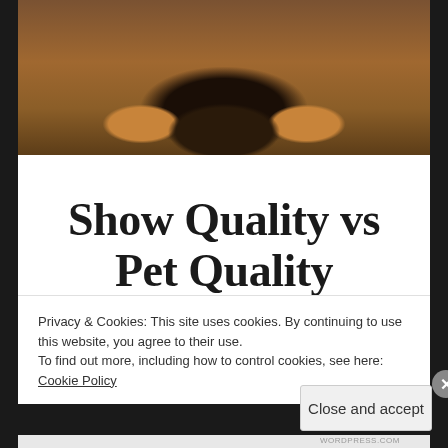[Figure (photo): Close-up photo of a dog (German Shepherd) lying on a wooden floor, showing its paws and lower body]
Show Quality vs Pet Quality
September 4, 2019 · Leave a comment ·
Privacy & Cookies: This site uses cookies. By continuing to use this website, you agree to their use.
To find out more, including how to control cookies, see here: Cookie Policy
Close and accept